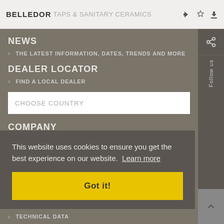BELLEDOR TAPS & SANITARY CERAMICS
NEWS
THE LATEST INFORMATION, DATES, TRENDS AND MORE
DEALER LOCATOR
FIND A LOCAL DEALER
CHOOSE COUNTRY
COMPANY
This website uses cookies to ensure you get the best experience on our website. Learn more
Got it!
TECHNICAL DATA